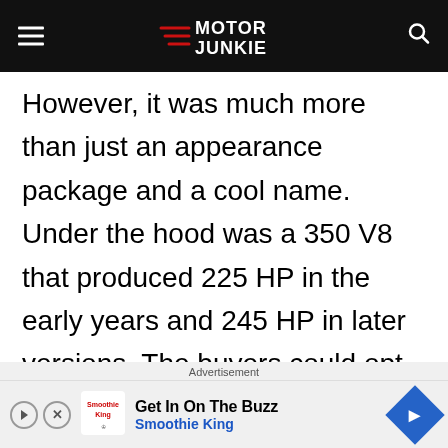Motor Junkie
However, it was much more than just an appearance package and a cool name. Under the hood was a 350 V8 that produced 225 HP in the early years and 245 HP in later versions. The buyers could opt for manual or automatic and the suspension was tuned as well as the steering. Chevrolet even offered a cool-looking convertible,
Advertisement
[Figure (other): Smoothie King advertisement banner with logo, text 'Get In On The Buzz Smoothie King', play and close buttons, and a blue arrow navigation icon]